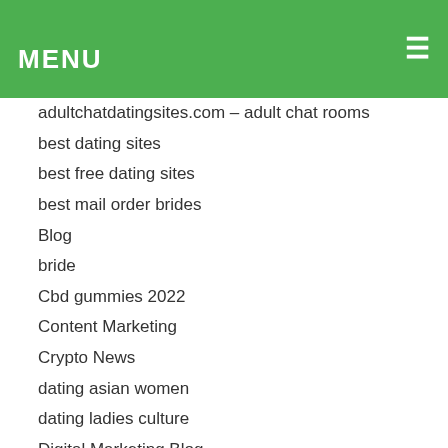MENU
adultchatdatingsites.com – adult chat rooms
best dating sites
best free dating sites
best mail order brides
Blog
bride
Cbd gummies 2022
Content Marketing
Crypto News
dating asian women
dating ladies culture
Digital Marketing Blog
hookupguide.org – hook up websites
https://freeforeigndatingsites.com/
https://jetbride.com/
https://top10chinesedatingsites.net/